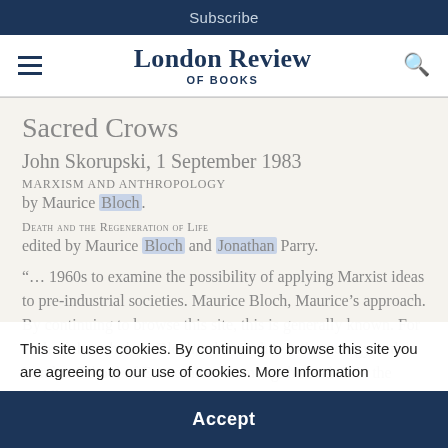Subscribe
[Figure (logo): London Review of Books logo with hamburger menu and search icon]
Sacred Crows
John Skorupski, 1 September 1983
Marxism and Anthropology
by Maurice Bloch.
Death and the Regeneration of Life
edited by Maurice Bloch and Jonathan Parry.
“… 1960s to examine the possibility of applying Marxist ideas to pre-industrial societies. Maurice Bloch, Maurice’s approach. By continuing to browse this site, this is generally known. For each of the scholars, Bloch, who teaches anthropology at the London School of Economics, is among the leaders in the middle generation of…”
This site uses cookies. By continuing to browse this site you are agreeing to our use of cookies. More Information
Accept